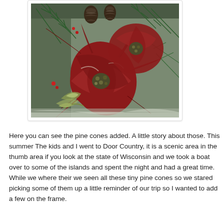[Figure (photo): Close-up photo of a decorative floral arrangement with dark red poinsettia flowers, pine cones, and green pine branches, displayed in a white-bordered frame.]
Here you can see the pine cones added. A little story about those. This summer The kids and I went to Door Country, it is a scenic area in the thumb area if you look at the state of Wisconsin and we took a boat over to some of the islands and spent the night and had a great time. While we where their we seen all these tiny pine cones so we stared picking some of them up a little reminder of our trip so I wanted to add a few on the frame.